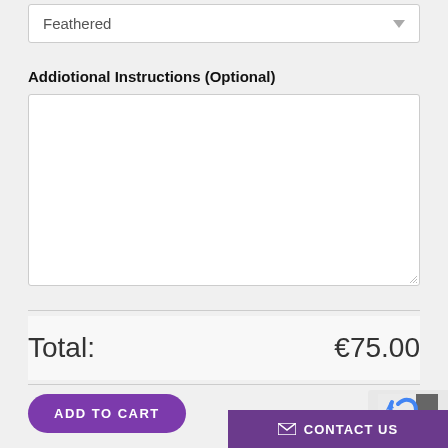Feathered
Addiotional Instructions (Optional)
Total: €75.00
ADD TO CART
CONTACT US